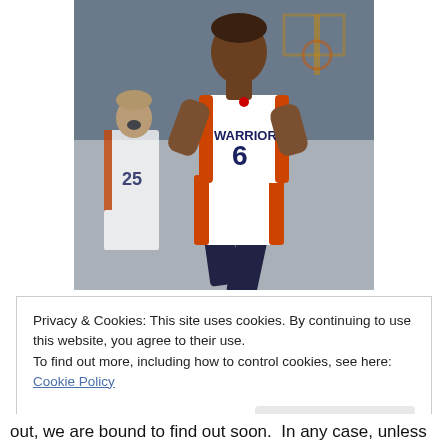[Figure (photo): Basketball player wearing a Golden State Warriors white jersey with number 6, running on a basketball court. Another player wearing number 25 is visible in the background.]
Privacy & Cookies: This site uses cookies. By continuing to use this website, you agree to their use.
To find out more, including how to control cookies, see here: Cookie Policy
Close and accept
out, we are bound to find out soon.  In any case, unless